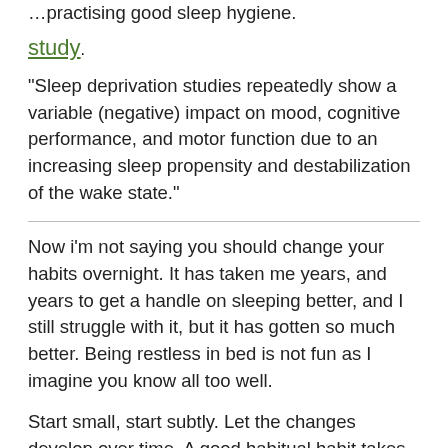…practising good sleep hygiene.
study
"Sleep deprivation studies repeatedly show a variable (negative) impact on mood, cognitive performance, and motor function due to an increasing sleep propensity and destabilization of the wake state."
Now i'm not saying you should change your habits overnight. It has taken me years, and years to get a handle on sleeping better, and I still struggle with it, but it has gotten so much better. Being restless in bed is not fun as I imagine you know all too well.
Start small, start subtly. Let the changes develop over time. A good habitual habit takes at least 2 weeks, and trust me, I know how dumb that sounds coming from someone with ADHD too, but Adderall can do so much more if you use it to make great lasting habits.